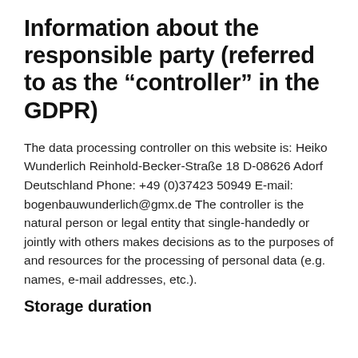Information about the responsible party (referred to as the “controller” in the GDPR)
The data processing controller on this website is: Heiko Wunderlich Reinhold-Becker-Straße 18 D-08626 Adorf Deutschland Phone: +49 (0)37423 50949 E-mail: bogenbauwunderlich@gmx.de The controller is the natural person or legal entity that single-handedly or jointly with others makes decisions as to the purposes of and resources for the processing of personal data (e.g. names, e-mail addresses, etc.).
Storage duration